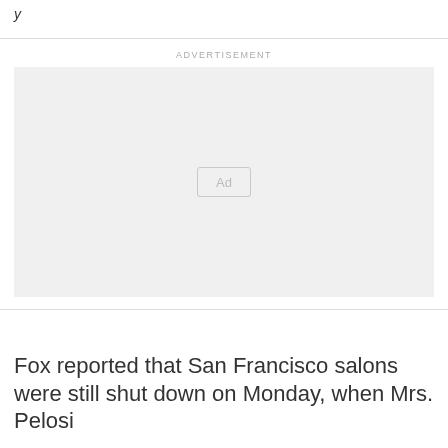y
[Figure (other): Advertisement placeholder box with 'Ad' label in center]
Fox reported that San Francisco salons were still shut down on Monday, when Mrs. Pelosi